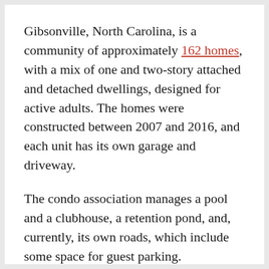Gibsonville, North Carolina, is a community of approximately 162 homes, with a mix of one and two-story attached and detached dwellings, designed for active adults. The homes were constructed between 2007 and 2016, and each unit has its own garage and driveway.
The condo association manages a pool and a clubhouse, a retention pond, and, currently, its own roads, which include some space for guest parking.